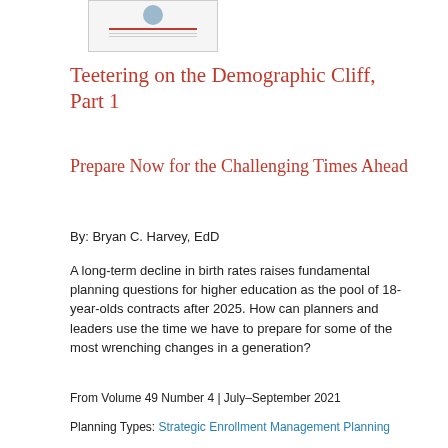[Figure (thumbnail): Small thumbnail image showing a person and a document cover with a red bar element]
Teetering on the Demographic Cliff, Part 1
Prepare Now for the Challenging Times Ahead
By: Bryan C. Harvey, EdD
A long-term decline in birth rates raises fundamental planning questions for higher education as the pool of 18-year-olds contracts after 2025. How can planners and leaders use the time we have to prepare for some of the most wrenching changes in a generation?
From Volume 49 Number 4 | July–September 2021
Planning Types: Strategic Enrollment Management Planning